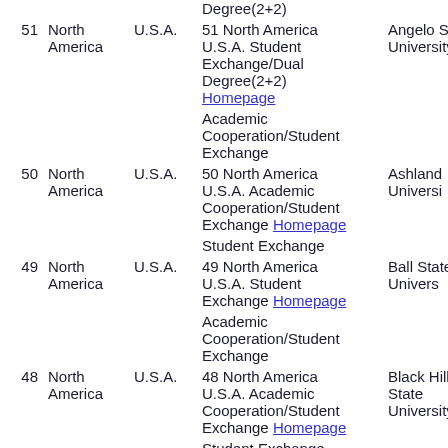| # | Region | Country | Program | Partner University |
| --- | --- | --- | --- | --- |
| 51 | North America | U.S.A. | Degree(2+2)
51 North America U.S.A. Student Exchange/Dual Degree(2+2) Homepage | Angelo State University |
|  |  |  | Academic Cooperation/Student Exchange |  |
| 50 | North America | U.S.A. | 50 North America U.S.A. Academic Cooperation/Student Exchange Homepage | Ashland University |
|  |  |  | Student Exchange |  |
| 49 | North America | U.S.A. | 49 North America U.S.A. Student Exchange Homepage | Ball State University |
|  |  |  | Academic Cooperation/Student Exchange |  |
| 48 | North America | U.S.A. | 48 North America U.S.A. Academic Cooperation/Student Exchange Homepage | Black Hills State University |
|  |  |  | Student Exchange |  |